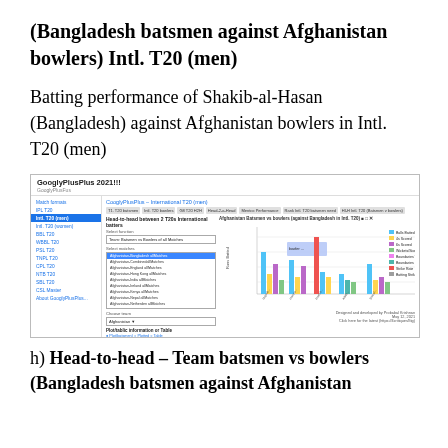(Bangladesh batsmen against Afghanistan bowlers) Intl. T20 (men)
Batting performance of Shakib-al-Hasan (Bangladesh) against Afghanistan bowlers in Intl. T20 (men)
[Figure (screenshot): Screenshot of GooglyPlusPlus 2021!!! web application showing head-to-head between 2 T20 International batters with a grouped bar chart of Afghanistan Batsmen vs bowlers against Bangladesh in Intl. T20.]
h) Head-to-head – Team batsmen vs bowlers (Bangladesh batsmen against Afghanistan